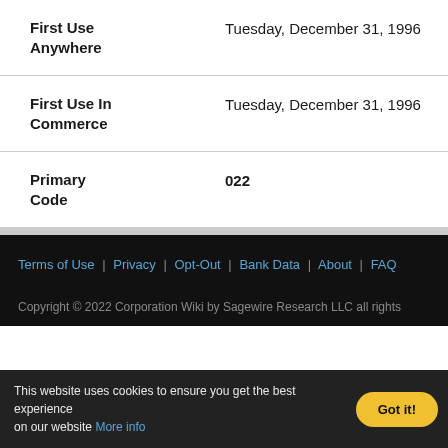| Field | Value |
| --- | --- |
| First Use Anywhere | Tuesday, December 31, 1996 |
| First Use In Commerce | Tuesday, December 31, 1996 |
| Primary Code | 022 |
Terms of Use | Privacy | Opt-Out | Bank Data | About | FAQ
Copyright © 2022 Corporation Wiki by Sagewire Research LLC all rights reserved.
This website uses cookies to ensure you get the best experience on our website More info